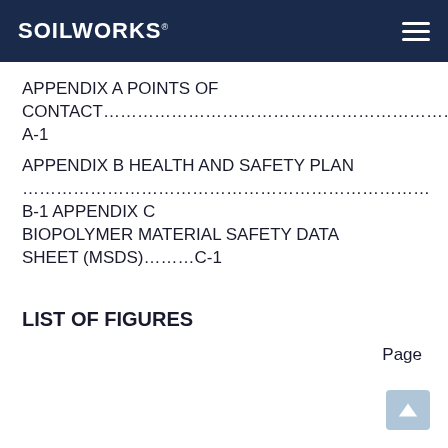SOILWORKS
APPENDIX A POINTS OF CONTACT……………………………………………………………………………………A-1
APPENDIX B HEALTH AND SAFETY PLAN ………………………………………………………………B-1 APPENDIX C BIOPOLYMER MATERIAL SAFETY DATA SHEET (MSDS)………C-1
LIST OF FIGURES
Page